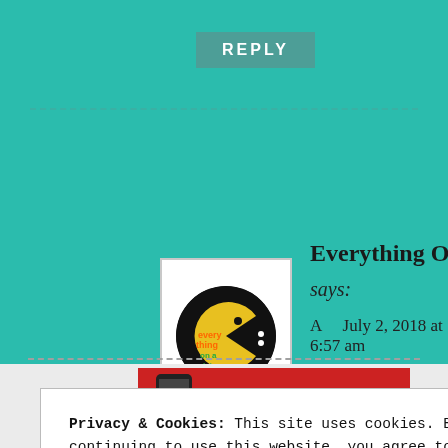REPLY
[Figure (illustration): Circular logo for 'Everything On A Plate' — black circle with colorful illustrated text and a Pac-Man-like shape, inside a white square frame with dots]
Everything On A Plate
says:
A    July 2, 2018 at 6:57 am
caramel cheesecake
elephant ear ? that is the first we have
Privacy & Cookies: This site uses cookies. By continuing to use this website, you agree to their use.
To find out more, including how to control cookies, see here: Cookie Policy
Close and accept
[Figure (infographic): Pocket Casts advertisement banner — red background with phone image and 'An app by listeners, for listeners.' text]